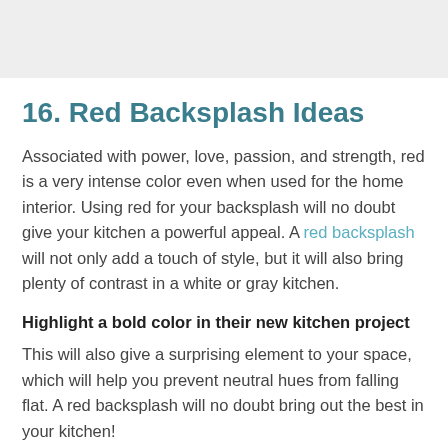[Figure (other): Gray banner at top with downward-pointing chevron/arrow shape cut out at the bottom center]
16. Red Backsplash Ideas
Associated with power, love, passion, and strength, red is a very intense color even when used for the home interior. Using red for your backsplash will no doubt give your kitchen a powerful appeal. A red backsplash will not only add a touch of style, but it will also bring plenty of contrast in a white or gray kitchen.
Highlight a bold color in their new kitchen project
This will also give a surprising element to your space, which will help you prevent neutral hues from falling flat. A red backsplash will no doubt bring out the best in your kitchen!